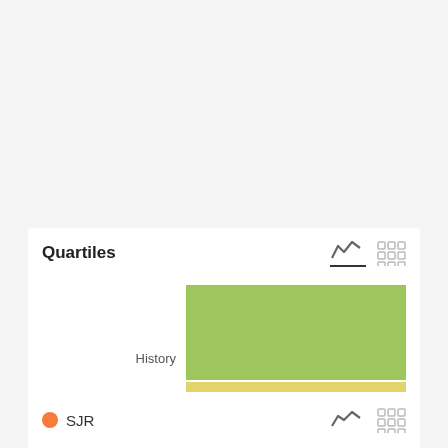[Figure (bar-chart): Quartiles]
SJR